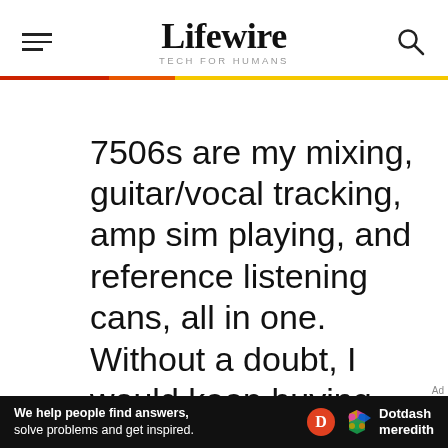Lifewire TECH FOR HUMANS
7506s are my mixing, guitar/vocal tracking, amp sim playing, and reference listening cans, all in one. Without a doubt, I would keep buying
We help people find answers, solve problems and get inspired. Dotdash meredith